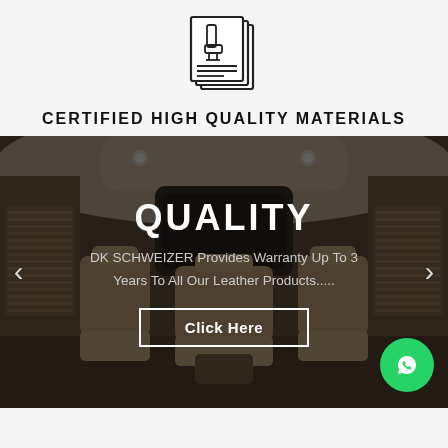[Figure (illustration): Line-art icon of car seat documents/certification pages stacked, showing a seat diagram with lines beneath]
CERTIFIED HIGH QUALITY MATERIALS
[Figure (photo): Interior of a luxury van/minivan with beige leather seats, overhead lights, partition screen, side windows with blinds]
QUALITY
DK SCHWEIZER Provides Warranty Up To 3 Years To All Our Leather Products.....
Click Here